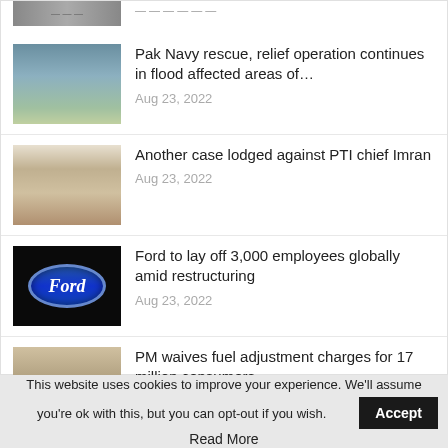[Figure (photo): Partial clipped image at top of list, mostly cut off]
Pak Navy rescue, relief operation continues in flood affected areas of…
Aug 23, 2022
[Figure (photo): Photo of Imran Khan (PTI chief) gesturing, seated]
Another case lodged against PTI chief Imran
Aug 23, 2022
[Figure (photo): Ford logo on dark background - blue oval with Ford text]
Ford to lay off 3,000 employees globally amid restructuring
Aug 23, 2022
[Figure (photo): Photo of Pakistani PM Shehbaz Sharif with others]
PM waives fuel adjustment charges for 17 million consumers
Aug 23, 2022
This website uses cookies to improve your experience. We'll assume you're ok with this, but you can opt-out if you wish.
Accept
Read More